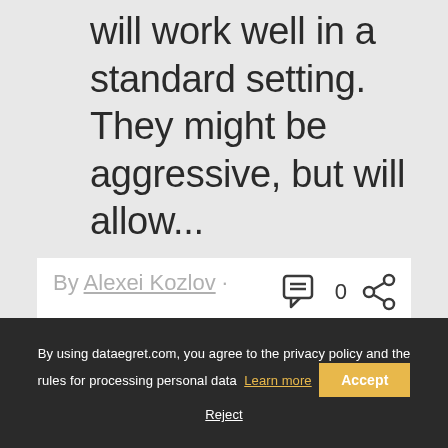will work well in a standard setting. They might be aggressive, but will allow...
By Alexei Kozlov ·
By using dataegret.com, you agree to the privacy policy and the rules for processing personal data  Learn more  Accept  Reject